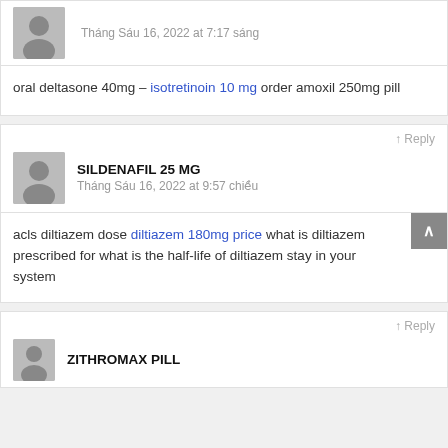Tháng Sáu 16, 2022 at 7:17 sáng
oral deltasone 40mg – isotretinoin 10 mg order amoxil 250mg pill
Reply
SILDENAFIL 25 MG
Tháng Sáu 16, 2022 at 9:57 chiều
acls diltiazem dose diltiazem 180mg price what is diltiazem prescribed for what is the half-life of diltiazem stay in your system
Reply
ZITHROMAX PILL